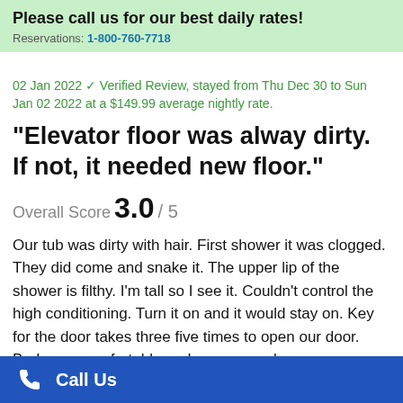Please call us for our best daily rates! Reservations: 1-800-760-7718
02 Jan 2022 ✓ Verified Review, stayed from Thu Dec 30 to Sun Jan 02 2022 at a $149.99 average nightly rate.
"Elevator floor was alway dirty. If not, it needed new floor."
Overall Score 3.0 / 5
Our tub was dirty with hair. First shower it was clogged. They did come and snake it. The upper lip of the shower is filthy. I'm tall so I see it. Couldn't control the high conditioning. Turn it on and it would stay on. Key for the door takes three five times to open our door. Bed were comfortable and room was clean.
John T. (Individual traveler, booked 1 room), from 🇺🇸
Call Us